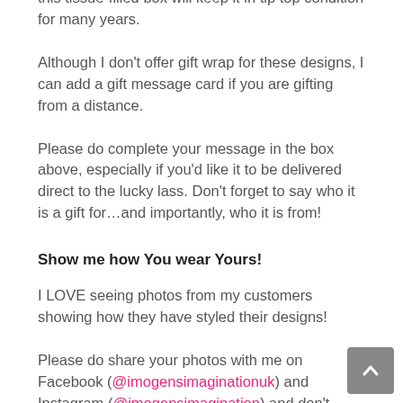with plain Satin Ribbon. Storing your fascinator in this tissue-filled box will keep it in tip top condition for many years.
Although I don't offer gift wrap for these designs, I can add a gift message card if you are gifting from a distance.
Please do complete your message in the box above, especially if you'd like it to be delivered direct to the lucky lass. Don't forget to say who it is a gift for…and importantly, who it is from!
Show me how You wear Yours!
I LOVE seeing photos from my customers showing how they have styled their designs!
Please do share your photos with me on Facebook (@imogensimaginationuk) and Instagram (@imogensimagination) and don't forget to use the hashtag #imogensimagination